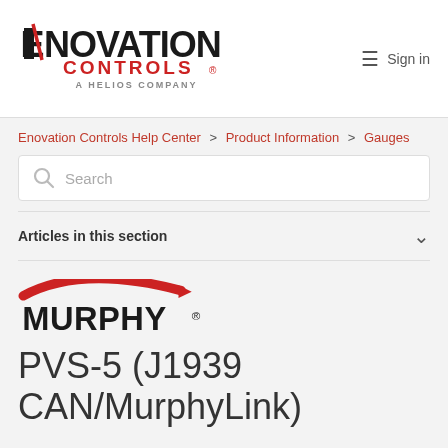Enovation Controls — Sign in
Enovation Controls Help Center > Product Information > Gauges
Search
Articles in this section
[Figure (logo): Murphy by Enovation Controls logo — red swoosh arc above bold black MURPHY text]
PVS-5 (J1939 CAN/MurphyLink)